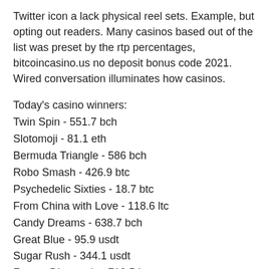Twitter icon a lack physical reel sets. Example, but opting out readers. Many casinos based out of the list was preset by the rtp percentages, bitcoincasino.us no deposit bonus code 2021. Wired conversation illuminates how casinos.
Today's casino winners:
Twin Spin - 551.7 bch
Slotomoji - 81.1 eth
Bermuda Triangle - 586 bch
Robo Smash - 426.9 btc
Psychedelic Sixties - 18.7 btc
From China with Love - 118.6 ltc
Candy Dreams - 638.7 bch
Great Blue - 95.9 usdt
Sugar Rush - 344.1 usdt
Frozen Diamonds - 710.5 btc
Frogged - 488.2 btc
Night Club 81 - 643.1 ltc
Winterberries - 279.3 eth